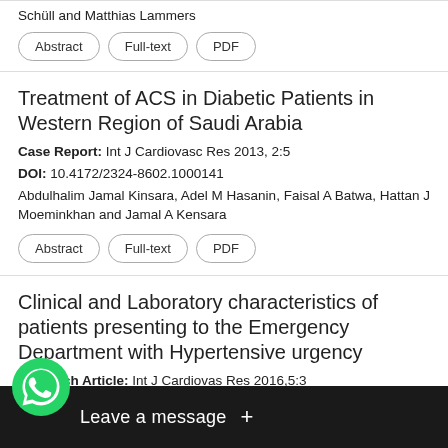Schüll and Matthias Lammers
Abstract | Full-text | PDF
Treatment of ACS in Diabetic Patients in Western Region of Saudi Arabia
Case Report: Int J Cardiovasc Res 2013, 2:5
DOI: 10.4172/2324-8602.1000141
Abdulhalim Jamal Kinsara, Adel M Hasanin, Faisal A Batwa, Hattan J Moeminkhan and Jamal A Kensara
Abstract | Full-text | PDF
Clinical and Laboratory characteristics of patients presenting to the Emergency Department with Hypertensive urgency
Research Article: Int J Cardiovas Res 2016,5:3
DOI: 10.4172/2324-8602.1000266
af Shiber-Ofer, Zipora Shohat and Alon Grossman
[Figure (screenshot): WhatsApp 'Leave a message' overlay widget at the bottom of the screen]